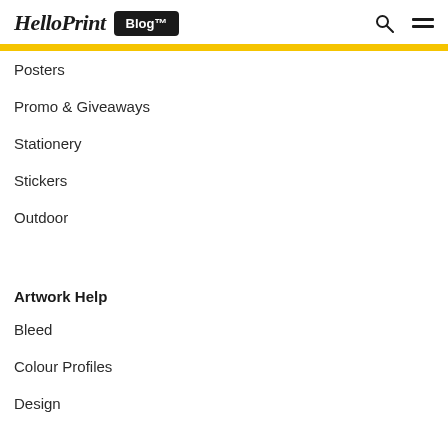HelloPrint Blog™
Posters
Promo & Giveaways
Stationery
Stickers
Outdoor
Artwork Help
Bleed
Colour Profiles
Design